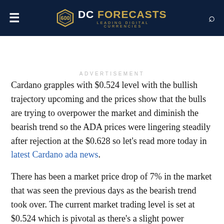DC FORECASTS — LEADING DIGITAL CURRENCIES
ADVERTISEMENT
Cardano grapples with $0.524 level with the bullish trajectory upcoming and the prices show that the bulls are trying to overpower the market and diminish the bearish trend so the ADA prices were lingering steadily after rejection at the $0.628 so let's read more today in latest Cardano ada news.
There has been a market price drop of 7% in the market that was seen the previous days as the bearish trend took over. The current market trading level is set at $0.524 which is pivotal as there's a slight power struggle between